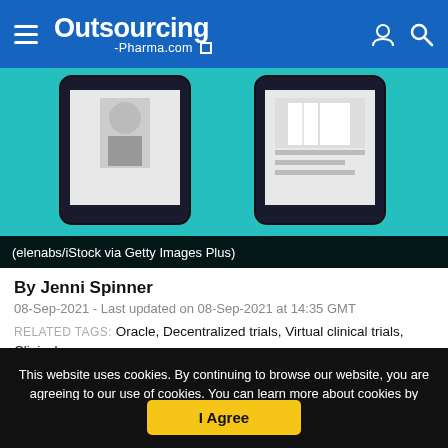Outsourcing-Pharma.com
[Figure (illustration): Screenshot of a pharma article page showing two tablet devices with clinical/medical imagery on teal background, with caption bar at bottom]
(elenabs/iStock via Getty Images Plus)
By Jenni Spinner
08-Sep-2021 - Last updated on 08-Sep-2021 at 14:35 GMT
RELATED TAGS: Oracle, Decentralized trials, Virtual clinical trials, Clinical trials, fi..., COVID-19
This website uses cookies. By continuing to browse our website, you are agreeing to our use of cookies. You can learn more about cookies by visiting our privacy & cookies policy page.
I Agree